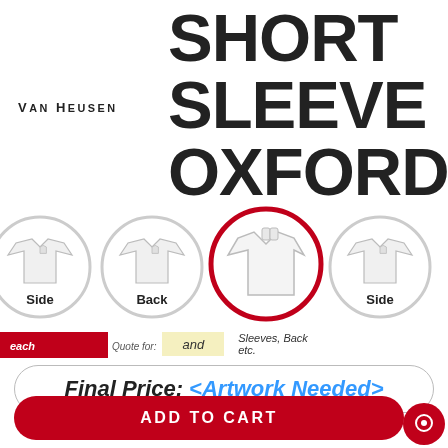SHORT SLEEVE OXFORD
VAN HEUSEN
[Figure (illustration): Four circular thumbnail images of a white short-sleeve oxford shirt from different angles: Side, Back, Front (selected with red circle border), Side. Each shirt is illustrated in white.]
each  and  Sleeves, Back etc.  Quote for:
Final Price: <Artwork Needed>
ADD TO CART